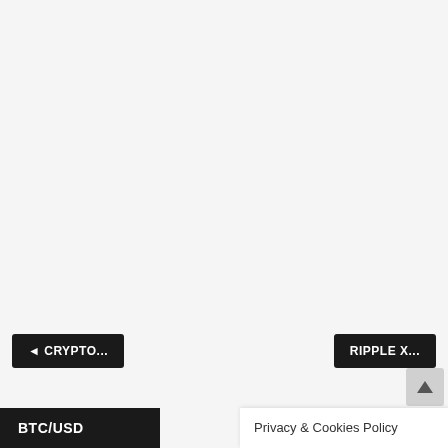Navigation bar with home, menu, and search icons
[Figure (screenshot): Thumbnail image for article about Pancake Swap Locked Pools — shows a phone with crypto app and a person at a laptop with a cartoon pancake character]
🔴 How To Make $700 Per Day Passive Income With Pancake Swap Locked Pools In 2022 | Beginner Guide
April 28, 2022
In "Video"
Share post:
[Figure (infographic): Social sharing buttons: Facebook, Twitter, Pinterest, Tumblr, Reddit, WhatsApp, Blogger, More]
◄ CRYPTO...
RIPPLE X...
BTC/USD
Privacy & Cookies Policy